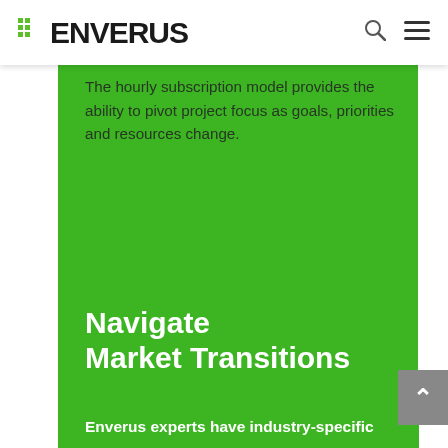ENVERUS
The hourly subscription model provides the ability to pivot project focus as goals, priorities and resources change.
Navigate Market Transitions
Enverus experts have industry-specific